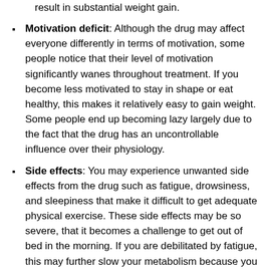result in substantial weight gain.
Motivation deficit: Although the drug may affect everyone differently in terms of motivation, some people notice that their level of motivation significantly wanes throughout treatment. If you become less motivated to stay in shape or eat healthy, this makes it relatively easy to gain weight. Some people end up becoming lazy largely due to the fact that the drug has an uncontrollable influence over their physiology.
Side effects: You may experience unwanted side effects from the drug such as fatigue, drowsiness, and sleepiness that make it difficult to get adequate physical exercise. These side effects may be so severe, that it becomes a challenge to get out of bed in the morning. If you are debilitated by fatigue, this may further slow your metabolism because you aren't getting much physical activity to keep it high.